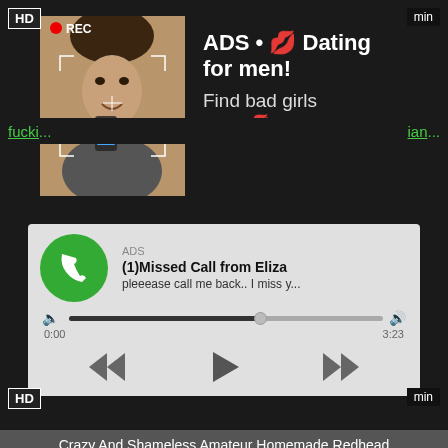[Figure (screenshot): Top advertisement banner with photo of woman taking selfie and text: ADS • Dating for men! Find bad girls here]
fucki...ian...
[Figure (screenshot): Audio player ad showing missed call notification: ADS (1)Missed Call from Eliza - pleeease call me back.. I miss y... with playback controls and time 0:00 / 3:23]
Crazy And Shameless Amateur Homemade Redhead
amateur, homemade, redhead, POV, pussyfucking, cheati...